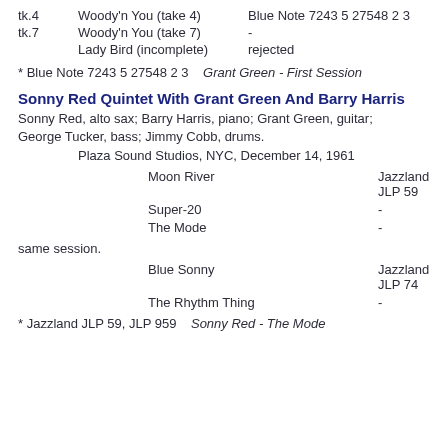tk.4    Woody'n You (take 4)    Blue Note 7243 5 27548 2 3
tk.7    Woody'n You (take 7)    -
Lady Bird (incomplete)    rejected
* Blue Note 7243 5 27548 2 3    Grant Green - First Session
Sonny Red Quintet With Grant Green And Barry Harris
Sonny Red, alto sax; Barry Harris, piano; Grant Green, guitar; George Tucker, bass; Jimmy Cobb, drums.
Plaza Sound Studios, NYC, December 14, 1961
Moon River    Jazzland JLP 59
Super-20    -
The Mode    -
same session.
Blue Sonny    Jazzland JLP 74
The Rhythm Thing    -
* Jazzland JLP 59, JLP 959    Sonny Red - The Mode